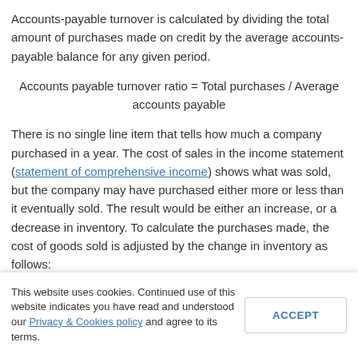Accounts-payable turnover is calculated by dividing the total amount of purchases made on credit by the average accounts-payable balance for any given period.
There is no single line item that tells how much a company purchased in a year. The cost of sales in the income statement (statement of comprehensive income) shows what was sold, but the company may have purchased either more or less than it eventually sold. The result would be either an increase, or a decrease in inventory. To calculate the purchases made, the cost of goods sold is adjusted by the change in inventory as follows:
Again, as with the accounts receivable turnover ratio, this can be expressed in terms of a number of days by dividing the...
This website uses cookies. Continued use of this website indicates you have read and understood our Privacy & Cookies policy and agree to its terms.